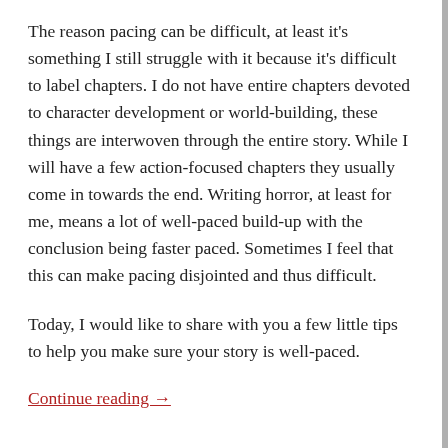The reason pacing can be difficult, at least it's something I still struggle with it because it's difficult to label chapters. I do not have entire chapters devoted to character development or world-building, these things are interwoven through the entire story. While I will have a few action-focused chapters they usually come in towards the end. Writing horror, at least for me, means a lot of well-paced build-up with the conclusion being faster paced. Sometimes I feel that this can make pacing disjointed and thus difficult.
Today, I would like to share with you a few little tips to help you make sure your story is well-paced.
Continue reading →